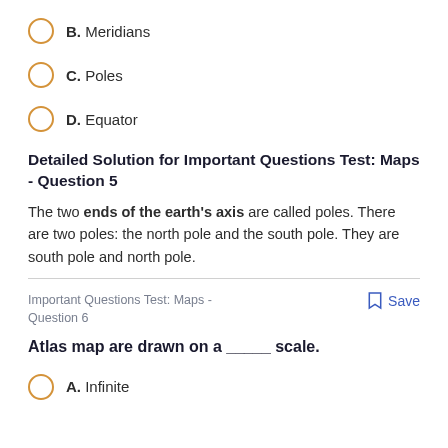B. Meridians
C. Poles
D. Equator
Detailed Solution for Important Questions Test: Maps - Question 5
The two ends of the earth's axis are called poles. There are two poles: the north pole and the south pole. They are south pole and north pole.
Important Questions Test: Maps - Question 6
Atlas map are drawn on a _____ scale.
A. Infinite